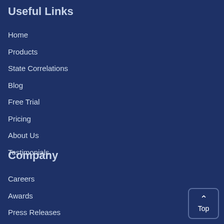Useful Links
Home
Products
State Correlations
Blog
Free Trial
Pricing
About Us
Testimonials
Company
Careers
Awards
Press Releases
Funding Sources